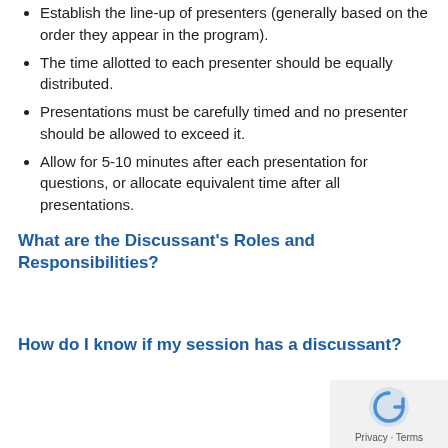Establish the line-up of presenters (generally based on the order they appear in the program).
The time allotted to each presenter should be equally distributed.
Presentations must be carefully timed and no presenter should be allowed to exceed it.
Allow for 5-10 minutes after each presentation for questions, or allocate equivalent time after all presentations.
What are the Discussant's Roles and Responsibilities?
How do I know if my session has a discussant?